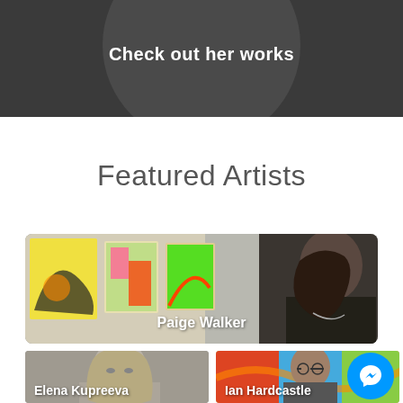Check out her works
Featured Artists
[Figure (photo): Featured artist Paige Walker standing in front of colorful paintings on a wall]
Paige Walker
[Figure (photo): Elena Kupreeva - black and white portrait of a woman with long blonde hair]
Elena Kupreeva
[Figure (photo): Ian Hardcastle - man surrounded by colorful abstract art]
Ian Hardcastle